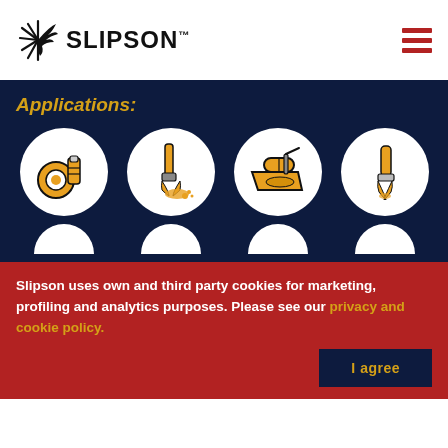[Figure (logo): Slipson company logo with feather/sunburst icon and SLIPSON™ text]
Applications:
[Figure (illustration): Four circular icons showing painting/construction application tools: spray can/tape roll, paintbrush, roller tray, small brush]
Slipson uses own and third party cookies for marketing, profiling and analytics purposes. Please see our privacy and cookie policy.